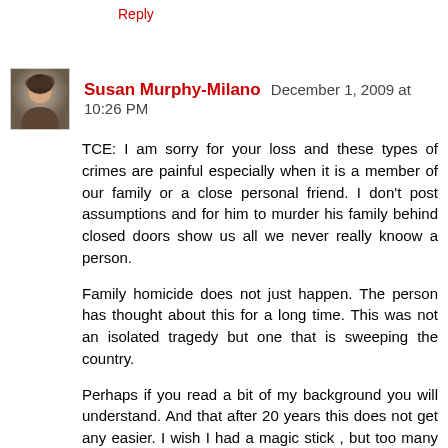Reply
[Figure (photo): Avatar photo of Susan Murphy-Milano, a woman with dark hair]
Susan Murphy-Milano  December 1, 2009 at 10:26 PM
TCE: I am sorry for your loss and these types of crimes are painful especially when it is a member of our family or a close personal friend. I don't post assumptions and for him to murder his family behind closed doors show us all we never really knoow a person.
Family homicide does not just happen. The person has thought about this for a long time. This was not an isolated tragedy but one that is sweeping the country.
Perhaps if you read a bit of my background you will understand. And that after 20 years this does not get any easier. I wish I had a magic stick , but too many families, women , children and being murdered in their own homes by those whom society who never think capable of such a crime.
Reply